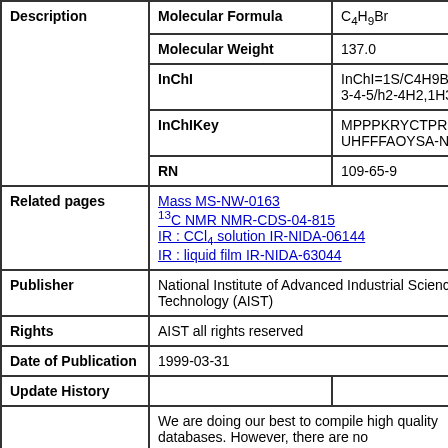|  |  |  |
| --- | --- | --- |
| Description | Molecular Formula | C4H9Br |
| Description | Molecular Weight | 137.0 |
| Description | InChI | InChI=1S/C4H9Br/c1-2-3-4-5/h2-4H2,1H3 |
| Description | InChIKey | MPPPKRYCTPRNTB-UHFFFAOYSA-N |
| Description | RN | 109-65-9 |
| Related pages | Mass MS-NW-0163 | 13C NMR NMR-CDS-04-815 | IR : CCl4 solution IR-NIDA-06144 | IR : liquid film IR-NIDA-63044 |  |
| Publisher | National Institute of Advanced Industrial Science and Technology (AIST) |  |
| Rights | AIST all rights reserved |  |
| Date of Publication | 1999-03-31 |  |
| Update History |  |  |
|  | We are doing our best to compile high quality databases. However, there are no |  |